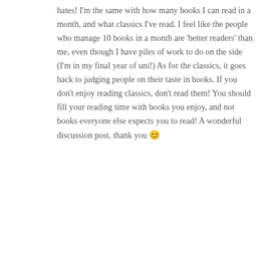hates! I'm the same with how many books I can read in a month, and what classics I've read. I feel like the people who manage 10 books in a month are 'better readers' than me, even though I have piles of work to do on the side (I'm in my final year of uni!) As for the classics, it goes back to judging people on their taste in books. If you don't enjoy reading classics, don't read them! You should fill your reading time with books you enjoy, and not books everyone else expects you to read! A wonderful discussion post, thank you 😊
★ Liked by 1 person
Reply
Justine